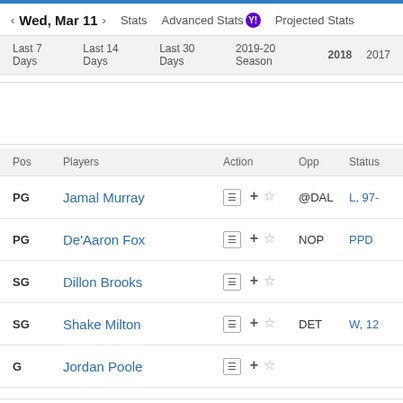Wed, Mar 11 | Stats | Advanced Stats | Projected Stats
Last 7 Days  Last 14 Days  Last 30 Days  2019-20 Season  2018  2017
| Pos | Players | Action | Opp | Status |
| --- | --- | --- | --- | --- |
| PG | Jamal Murray | ☰ + ☆ | @DAL | L, 97- |
| PG | De'Aaron Fox | ☰ + ☆ | NOP | PPD |
| SG | Dillon Brooks | ☰ + ☆ |  |  |
| SG | Shake Milton | ☰ + ☆ | DET | W, 12 |
| G | Jordan Poole | ☰ + ☆ |  |  |